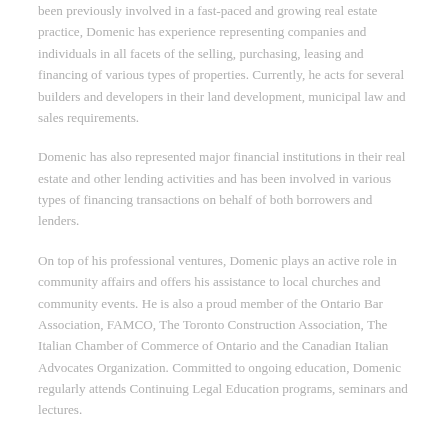been previously involved in a fast-paced and growing real estate practice, Domenic has experience representing companies and individuals in all facets of the selling, purchasing, leasing and financing of various types of properties. Currently, he acts for several builders and developers in their land development, municipal law and sales requirements.
Domenic has also represented major financial institutions in their real estate and other lending activities and has been involved in various types of financing transactions on behalf of both borrowers and lenders.
On top of his professional ventures, Domenic plays an active role in community affairs and offers his assistance to local churches and community events. He is also a proud member of the Ontario Bar Association, FAMCO, The Toronto Construction Association, The Italian Chamber of Commerce of Ontario and the Canadian Italian Advocates Organization. Committed to ongoing education, Domenic regularly attends Continuing Legal Education programs, seminars and lectures.